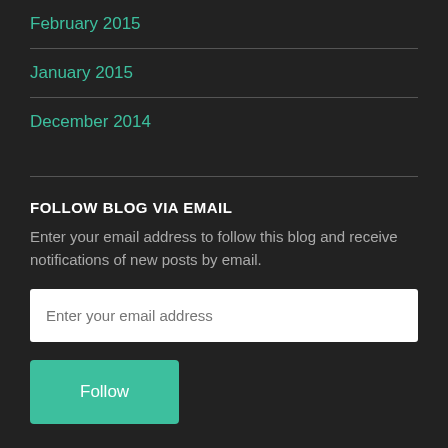February 2015
January 2015
December 2014
FOLLOW BLOG VIA EMAIL
Enter your email address to follow this blog and receive notifications of new posts by email.
Enter your email address
Follow